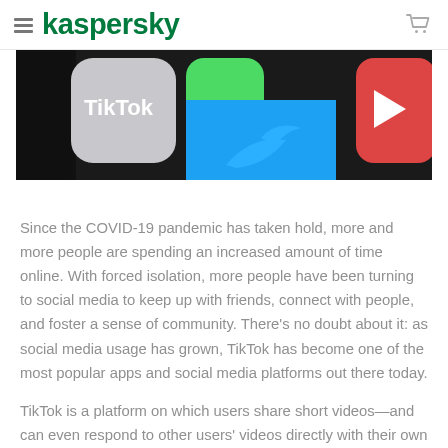kaspersky
[Figure (photo): Close-up photo of smartphone app icons including TikTok (gray), a green app, a blue Twitter bird, and a red YouTube icon on a dark background.]
Since the COVID-19 pandemic has taken hold, more and more people are spending an increased amount of time online. With forced isolation, more people have been turning to social media to keep up with friends, connect with people, and foster a sense of community. There's no doubt about it: as social media usage has grown, TikTok has become one of the most popular apps and social media platforms out there today.
TikTok is a platform on which users share short videos—and can even respond to other users' videos directly with their own videos. TikTok has particularly caught on with Gen Z—but its popularity is growing, and its